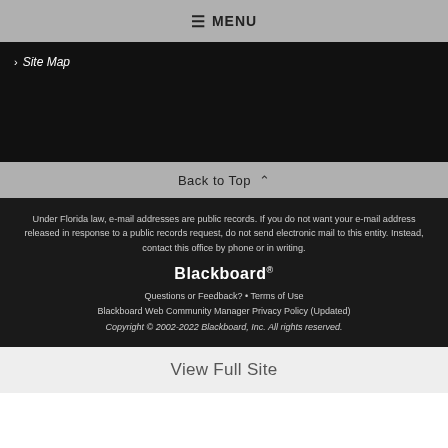≡ MENU
> Site Map
Back to Top ^
Under Florida law, e-mail addresses are public records. If you do not want your e-mail address released in response to a public records request, do not send electronic mail to this entity. Instead, contact this office by phone or in writing.
Blackboard®
Questions or Feedback? • Terms of Use
Blackboard Web Community Manager Privacy Policy (Updated)
Copyright © 2002-2022 Blackboard, Inc. All rights reserved.
View Full Site